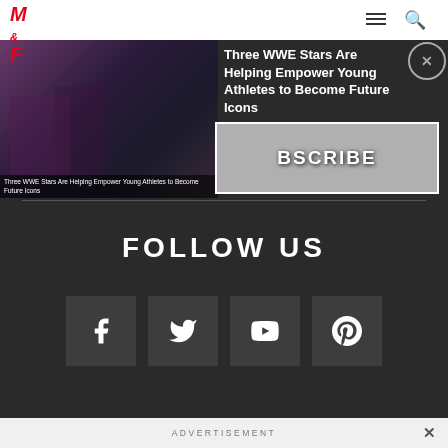M&F (Muscle & Fitness) logo, navigation menu, search icon
[Figure (screenshot): Video thumbnail of WWE stars on stage with performer and audience, with caption: Three WWE Stars Are Helping Empower Young Athletes to Become Future Icons]
Three WWE Stars Are Helping Empower Young Athletes to Become Future Icons
BSCRIBE
FOLLOW US
[Figure (infographic): Social media icons row: Facebook, Twitter, YouTube, Pinterest]
ADVERTISEMENT